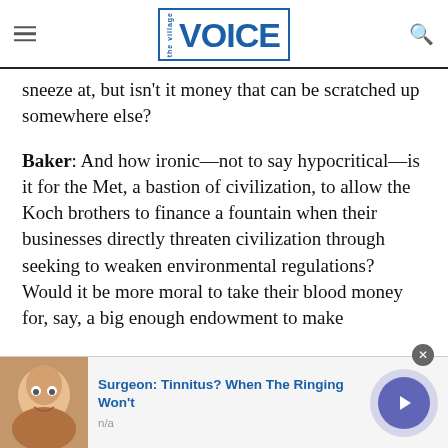the village VOICE
sneeze at, but isn't it money that can be scratched up somewhere else?
Baker: And how ironic—not to say hypocritical—is it for the Met, a bastion of civilization, to allow the Koch brothers to finance a fountain when their businesses directly threaten civilization through seeking to weaken environmental regulations? Would it be more moral to take their blood money for, say, a big enough endowment to make
[Figure (infographic): Advertisement banner: image of a person on left, blue text reading 'Surgeon: Tinnitus? When The Ringing Won't', subtext 'n/a', close button (x) and next arrow button on right]